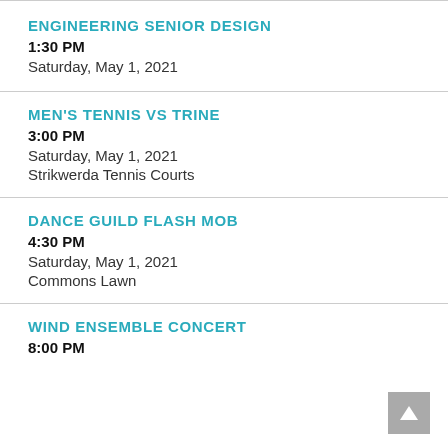ENGINEERING SENIOR DESIGN
1:30 PM
Saturday, May 1, 2021
MEN'S TENNIS VS TRINE
3:00 PM
Saturday, May 1, 2021
Strikwerda Tennis Courts
DANCE GUILD FLASH MOB
4:30 PM
Saturday, May 1, 2021
Commons Lawn
WIND ENSEMBLE CONCERT
8:00 PM